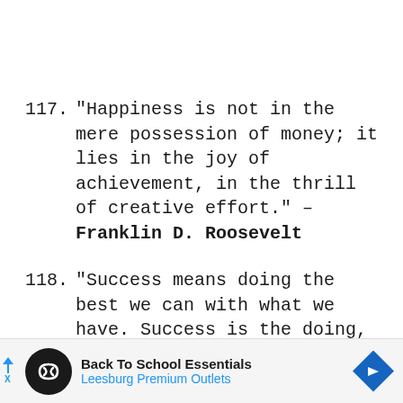117. “Happiness is not in the mere possession of money; it lies in the joy of achievement, in the thrill of creative effort.” – Franklin D. Roosevelt
118. “Success means doing the best we can with what we have. Success is the doing, not the
[Figure (other): Advertisement banner for Back To School Essentials at Leesburg Premium Outlets, with a circular logo icon, play/close button on left, and a blue diamond navigation icon on right.]